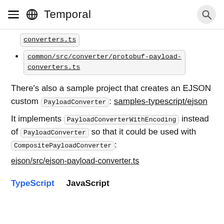Temporal
common/src/converter/protobuf-payload-converters.ts
common/src/converter/protobuf-payload-converters.ts
There's also a sample project that creates an EJSON custom PayloadConverter: samples-typescript/ejson
It implements PayloadConverterWithEncoding instead of PayloadConverter so that it could be used with CompositePayloadConverter:
ejson/src/ejson-payload-converter.ts
TypeScript   JavaScript